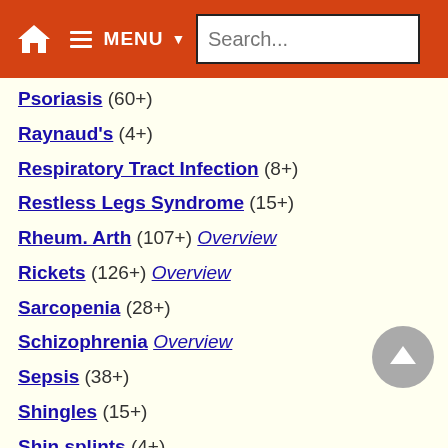MENU Search...
Psoriasis (60+)
Raynaud's (4+)
Respiratory Tract Infection (8+)
Restless Legs Syndrome (15+)
Rheum. Arth (107+) Overview
Rickets (126+) Overview
Sarcopenia (28+)
Schizophrenia Overview
Sepsis (38+)
Shingles (15+)
Shin splints (4+)
Sickle Cell (17+) Overview
Skin (106+) Overview